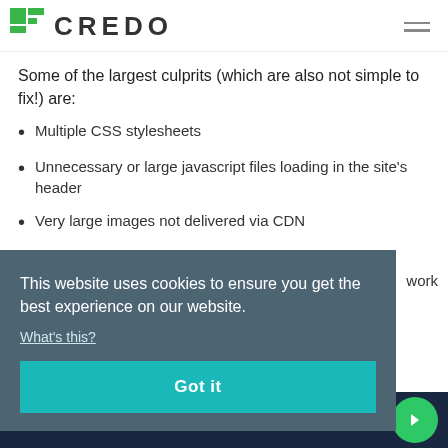CREDO
Some of the largest culprits (which are also not simple to fix!) are:
Multiple CSS stylesheets
Unnecessary or large javascript files loading in the site's header
Very large images not delivered via CDN
work
This website uses cookies to ensure you get the best experience on our website.
What's this?
Got it